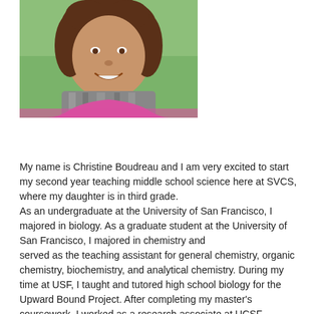[Figure (photo): Portrait photo of Christine Boudreau, a woman with curly brown hair wearing a pink top and a scarf, smiling outdoors.]
My name is Christine Boudreau and I am very excited to start my second year teaching middle school science here at SVCS, where my daughter is in third grade. As an undergraduate at the University of San Francisco, I majored in biology. As a graduate student at the University of San Francisco, I majored in chemistry and served as the teaching assistant for general chemistry, organic chemistry, biochemistry, and analytical chemistry. During my time at USF, I taught and tutored high school biology for the Upward Bound Project. After completing my master's coursework, I worked as a research associate at UCSF designing and synthesizing compounds to treat asthma. Just prior to attending medical school at UCLA, I spent a year teaching 7th grade math at a middle school in San Francisco. After graduating from medical school, I trained in general surgery at Beth Israel...